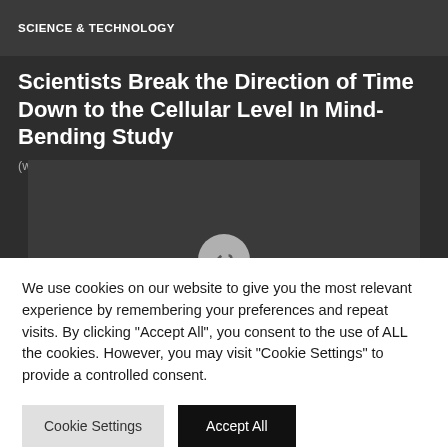SCIENCE & TECHNOLOGY
Scientists Break the Direction of Time Down to the Cellular Level In Mind-Bending Study
(www.reddit.com)
[Figure (screenshot): Dark background image area with a circular play/forward icon at the bottom center]
We use cookies on our website to give you the most relevant experience by remembering your preferences and repeat visits. By clicking "Accept All", you consent to the use of ALL the cookies. However, you may visit "Cookie Settings" to provide a controlled consent.
Cookie Settings | Accept All